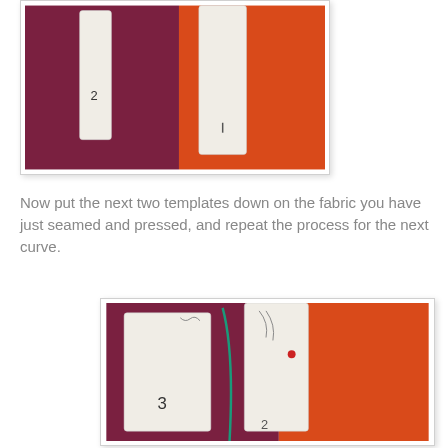[Figure (photo): Photo showing two white fabric templates (numbered 1 and 2) laid on burgundy and orange fabric pieces for curved sewing.]
Now put the next two templates down on the fabric you have just seamed and pressed, and repeat the process for the next curve.
[Figure (photo): Photo showing white fabric templates (numbered 2 and 3) laid on burgundy and orange fabric, with a curved teal/green line visible between them and a red dot marker.]